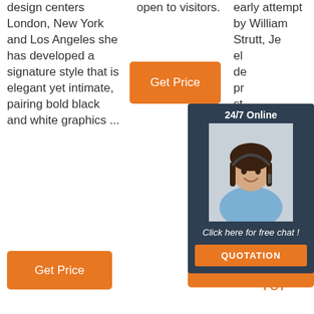design centers London, New York and Los Angeles she has developed a signature style that is elegant yet intimate, pairing bold black and white graphics ...
open to visitors.
early attempt by William Strutt, Je... el... de... pr... st... st...
[Figure (screenshot): Orange 'Get Price' button]
[Figure (screenshot): 24/7 Online chat widget with customer service representative photo, 'Click here for free chat!' text, and orange QUOTATION button]
[Figure (screenshot): Orange 'Get Price' button at bottom left]
[Figure (logo): Orange dotted triangle with 'TOP' text below it]